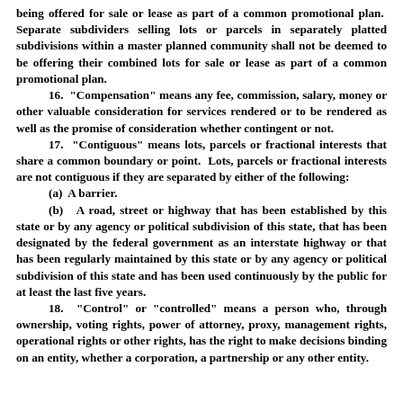being offered for sale or lease as part of a common promotional plan. Separate subdividers selling lots or parcels in separately platted subdivisions within a master planned community shall not be deemed to be offering their combined lots for sale or lease as part of a common promotional plan.
16. "Compensation" means any fee, commission, salary, money or other valuable consideration for services rendered or to be rendered as well as the promise of consideration whether contingent or not.
17. "Contiguous" means lots, parcels or fractional interests that share a common boundary or point. Lots, parcels or fractional interests are not contiguous if they are separated by either of the following:
(a) A barrier.
(b) A road, street or highway that has been established by this state or by any agency or political subdivision of this state, that has been designated by the federal government as an interstate highway or that has been regularly maintained by this state or by any agency or political subdivision of this state and has been used continuously by the public for at least the last five years.
18. "Control" or "controlled" means a person who, through ownership, voting rights, power of attorney, proxy, management rights, operational rights or other rights, has the right to make decisions binding on an entity, whether a corporation, a partnership or any other entity.